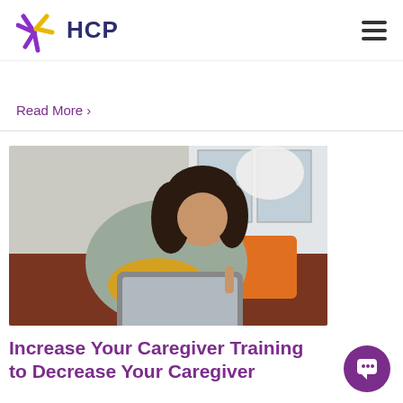HCP
Read More >
[Figure (photo): Woman with dark hair leaning forward smiling while using a tablet, sitting on a brown couch with an orange cushion, bright window in background.]
Increase Your Caregiver Training to Decrease Your Caregiver